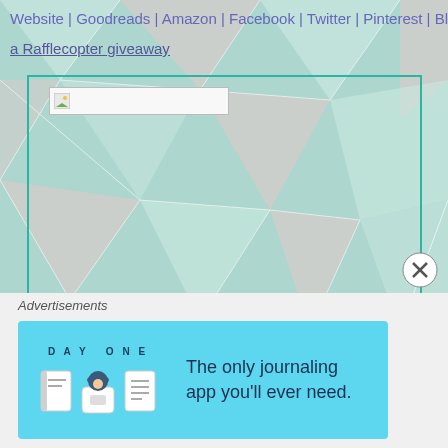Website | Goodreads | Amazon | Facebook | Twitter | Pinterest | Blo
a Rafflecopter giveaway
[Figure (screenshot): Rafflecopter giveaway widget embed box with a broken image placeholder at top and 'Hosted By Signal Boost Promotions' link at bottom, on a geometric teal/pink triangle background]
Hosted By Signal Boost Promotions
[Figure (other): Close/X button circle icon]
Advertisements
[Figure (screenshot): Day One app advertisement banner: 'The only journaling app you'll ever need.' with app icon illustrations on a light blue background]